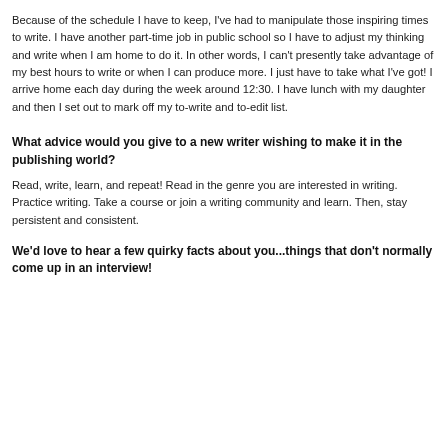Because of the schedule I have to keep, I've had to manipulate those inspiring times to write. I have another part-time job in public school so I have to adjust my thinking and write when I am home to do it. In other words, I can't presently take advantage of my best hours to write or when I can produce more. I just have to take what I've got! I arrive home each day during the week around 12:30. I have lunch with my daughter and then I set out to mark off my to-write and to-edit list.
What advice would you give to a new writer wishing to make it in the publishing world?
Read, write, learn, and repeat! Read in the genre you are interested in writing. Practice writing. Take a course or join a writing community and learn. Then, stay persistent and consistent.
We'd love to hear a few quirky facts about you...things that don't normally come up in an interview!